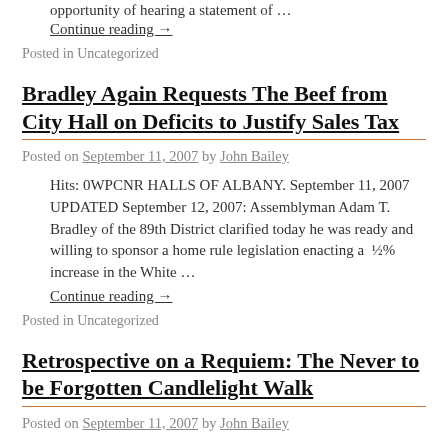opportunity of hearing a statement of …
Continue reading →
Posted in Uncategorized
Bradley Again Requests The Beef from City Hall on Deficits to Justify Sales Tax
Posted on September 11, 2007 by John Bailey
Hits: 0WPCNR HALLS OF ALBANY. September 11, 2007 UPDATED September 12, 2007: Assemblyman Adam T. Bradley of the 89th District clarified today he was ready and willing to sponsor a home rule legislation enacting a  ½% increase in the White …
Continue reading →
Posted in Uncategorized
Retrospective on a Requiem: The Never to be Forgotten Candlelight Walk
Posted on September 11, 2007 by John Bailey